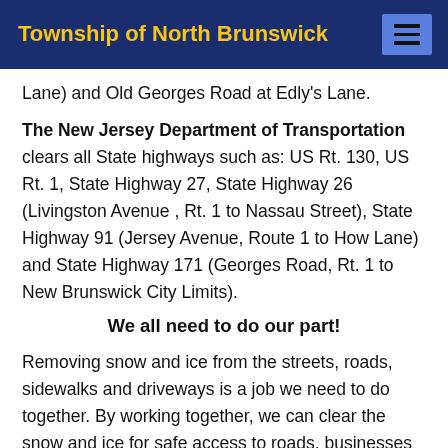Township of North Brunswick
Lane) and Old Georges Road at Edly's Lane.
The New Jersey Department of Transportation clears all State highways such as: US Rt. 130, US Rt. 1, State Highway 27, State Highway 26 (Livingston Avenue , Rt. 1 to Nassau Street), State Highway 91 (Jersey Avenue, Route 1 to How Lane) and State Highway 171 (Georges Road, Rt. 1 to New Brunswick City Limits).
We all need to do our part!
Removing snow and ice from the streets, roads, sidewalks and driveways is a job we need to do together. By working together, we can clear the snow and ice for safe access to roads, businesses and residential properties.